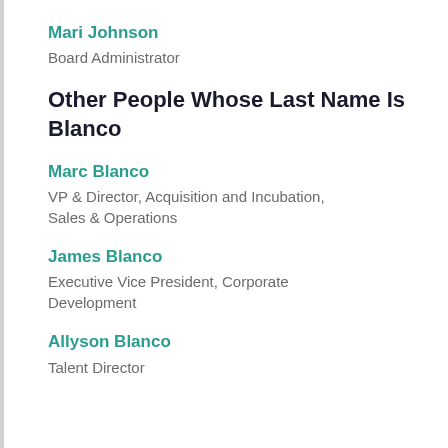Mari Johnson
Board Administrator
Other People Whose Last Name Is Blanco
Marc Blanco
VP & Director, Acquisition and Incubation, Sales & Operations
James Blanco
Executive Vice President, Corporate Development
Allyson Blanco
Talent Director